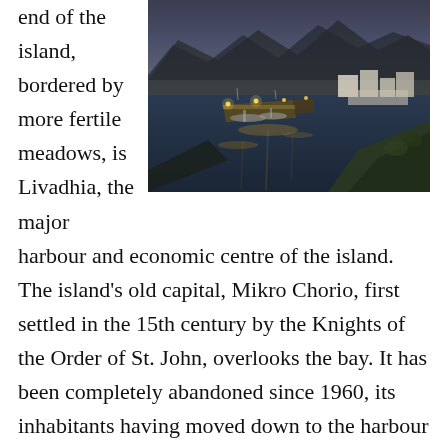end of the island, bordered by more fertile meadows, is Livadhia, the major
[Figure (photo): Aerial/elevated evening view of Livadhia harbour, showing boats moored at an illuminated pier, calm water reflecting lights, white buildings along the shore, and rocky mountains in the background under a dusky sky.]
harbour and economic centre of the island. The island's old capital, Mikro Chorio, first settled in the 15th century by the Knights of the Order of St. John, overlooks the bay. It has been completely abandoned since 1960, its inhabitants having moved down to the harbour in the 1930s. A number of other settlements such as Lethra, Ghera, and Pano Meri have similarly been abandoned. Mount Ayios Nikolaos (367 m) stands